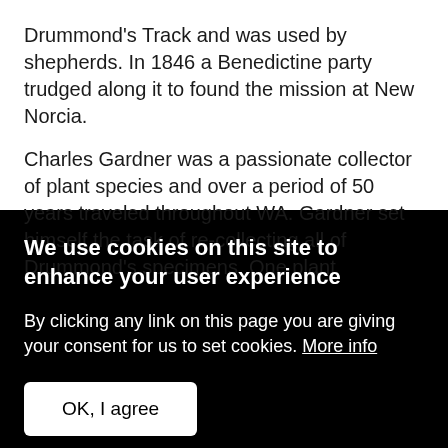Drummond's Track and was used by shepherds. In 1846 a Benedictine party trudged along it to found the mission at New Norcia.
Charles Gardner was a passionate collector of plant species and over a period of 50 years traveled throughout WA. Gardner set himself the task of re-collecting all of Drummond's specimens. One plant
We use cookies on this site to enhance your user experience
By clicking any link on this page you are giving your consent for us to set cookies. More info
OK, I agree